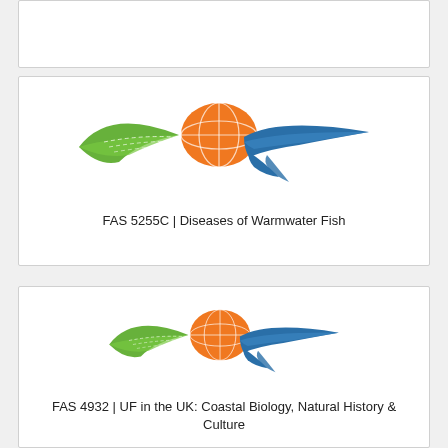[Figure (logo): UF Fisheries and Aquatic Sciences logo — green wing/leaf shape on left, orange fish/globe shape in center, blue sweeping water shape on right]
FAS 5255C | Diseases of Warmwater Fish
[Figure (logo): UF Fisheries and Aquatic Sciences logo — green wing/leaf shape on left, orange fish/globe shape in center, blue sweeping water shape on right]
FAS 4932 | UF in the UK: Coastal Biology, Natural History & Culture